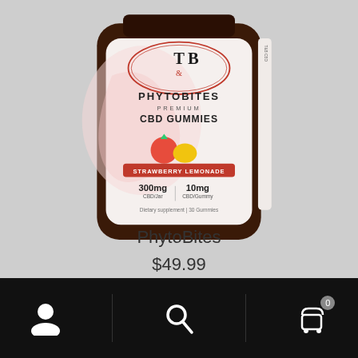[Figure (photo): T&B PhytoBites Premium CBD Gummies jar, Strawberry Lemonade flavor, 300mg CBD/jar, 10mg CBD/gummy, dietary supplement, 30 gummies]
PhytoBites
$49.99
Add to cart